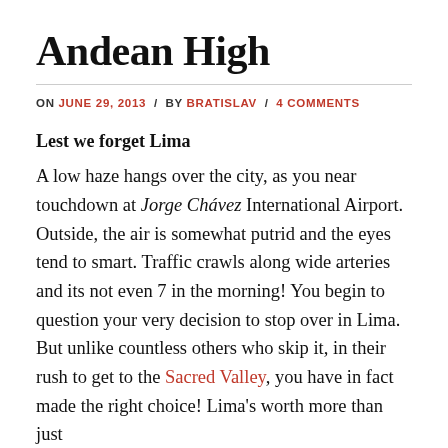Andean High
ON JUNE 29, 2013 / BY BRATISLAV / 4 COMMENTS
Lest we forget Lima
A low haze hangs over the city, as you near touchdown at Jorge Chávez International Airport. Outside, the air is somewhat putrid and the eyes tend to smart. Traffic crawls along wide arteries and its not even 7 in the morning! You begin to question your very decision to stop over in Lima. But unlike countless others who skip it, in their rush to get to the Sacred Valley, you have in fact made the right choice! Lima's worth more than just